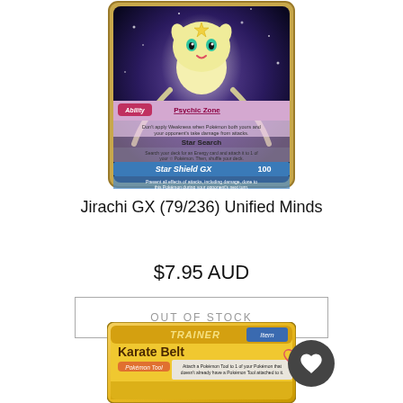[Figure (photo): Jirachi GX Pokemon card (79/236) Unified Minds - showing the card with Psychic Zone ability, Star Search, and Star Shield GX attack]
Jirachi GX (79/236) Unified Minds
$7.95 AUD
OUT OF STOCK
[Figure (photo): Karate Belt Trainer Item card - Pokemon Tool card that attaches a Pokemon Tool to one of your Pokemon that doesn't already have a Pokemon Tool attached to it]